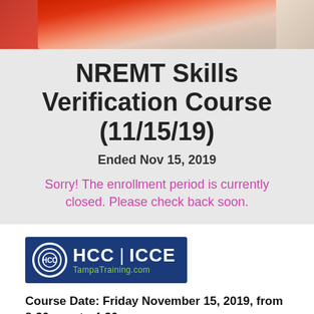[Figure (photo): Photo of people in medical/EMT training scenario, partially visible at top of page]
NREMT Skills Verification Course (11/15/19)
Ended Nov 15, 2019
Sorry! The enrollment period is currently closed. Please check back soon.
[Figure (logo): HCC|ICCE TampaTraining.com logo on dark blue background]
Course Date: Friday November 15, 2019, from 8:30 a.m. to 4:30 p.m.